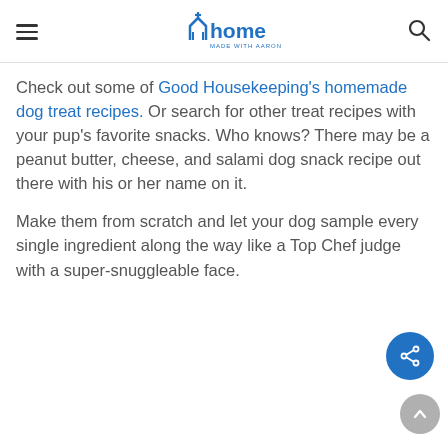Home Made with Aaron's
Check out some of Good Housekeeping's homemade dog treat recipes. Or search for other treat recipes with your pup's favorite snacks. Who knows? There may be a peanut butter, cheese, and salami dog snack recipe out there with his or her name on it.
Make them from scratch and let your dog sample every single ingredient along the way like a Top Chef judge with a super-snuggleable face.